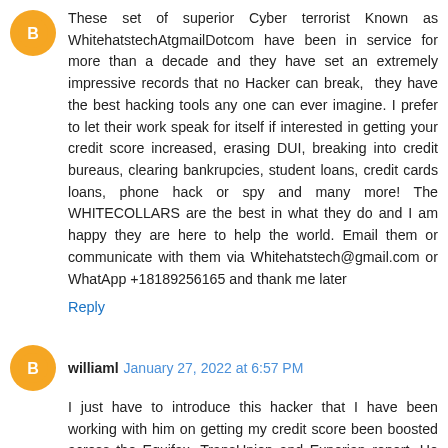These set of superior Cyber terrorist Known as WhitehatstechAtgmailDotcom have been in service for more than a decade and they have set an extremely impressive records that no Hacker can break, they have the best hacking tools any one can ever imagine. I prefer to let their work speak for itself if interested in getting your credit score increased, erasing DUI, breaking into credit bureaus, clearing bankrupcies, student loans, credit cards loans, phone hack or spy and many more! The WHITECOLLARS are the best in what they do and I am happy they are here to help the world. Email them or communicate with them via Whitehatstech@gmail.com or WhatApp +18189256165 and thank me later
Reply
williaml  January 27, 2022 at 6:57 PM
I just have to introduce this hacker that I have been working with him on getting my credit score been boosted across the Equifax, TransUnion and Experian report. He made a lot of good changes on my credit report by erasing all the